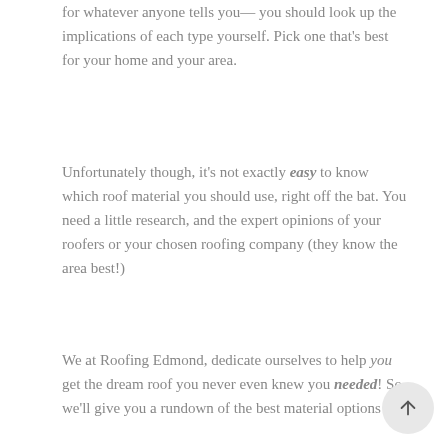for whatever anyone tells you— you should look up the implications of each type yourself. Pick one that's best for your home and your area.
Unfortunately though, it's not exactly easy to know which roof material you should use, right off the bat. You need a little research, and the expert opinions of your roofers or your chosen roofing company (they know the area best!)
We at Roofing Edmond, dedicate ourselves to help you get the dream roof you never even knew you needed! So, we'll give you a rundown of the best material options for